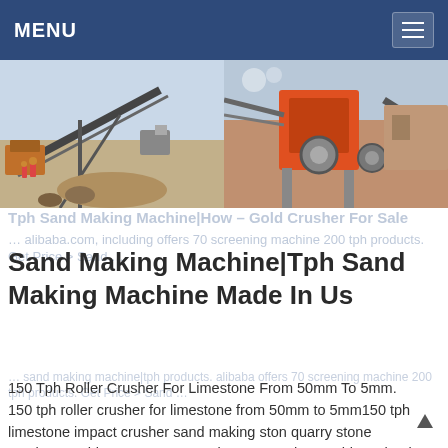MENU
[Figure (photo): Two side-by-side photos of mining/quarry crushing and sand-making machinery and equipment at an outdoor construction site.]
Sand Making Machine|Tph Sand Making Machine Made In Us
150 Tph Roller Crusher For Limestone From 50mm To 5mm. 150 tph roller crusher for limestone from 50mm to 5mm150 tph limestone impact crusher sand making ston quarry stone crusher machinery or quarry equipment are the machines that in general gravel machinery includes jaw crusher impact crusher hammer at present most of the